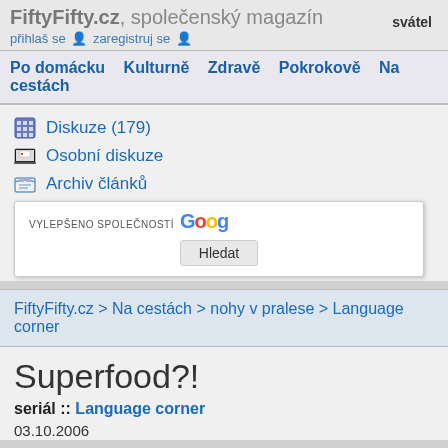FiftyFifty.cz, společenský magazín  svátel
přihlaš se  zaregistruj se
Po domácku  Kulturně  Zdravě  Pokrokově  Na cestách
Diskuze (179)
Osobní diskuze
Archiv článků
[Figure (screenshot): Google search box with label 'VYLEPŠENO SPOLEČNOSTÍ Google' and Hledat button]
FiftyFifty.cz > Na cestách > nohy v pralese > Language corner
Superfood?!
seriál :: Language corner
03.10.2006